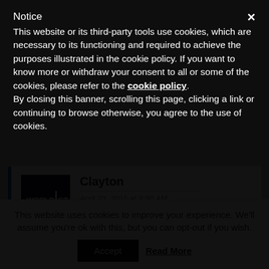Notice
This website or its third-party tools use cookies, which are necessary to its functioning and required to achieve the purposes illustrated in the cookie policy. If you want to know more or withdraw your consent to all or some of the cookies, please refer to the cookie policy.
By closing this banner, scrolling this page, clicking a link or continuing to browse otherwise, you agree to the use of cookies.
Clayton
April 23, 2015 at 8:50 AM
Thanks for a wonderful, informative show once again.
This website uses cookies to improve your experience. We'll assume you're ok with this, but you can opt-out if you wish.
Accept   Read More